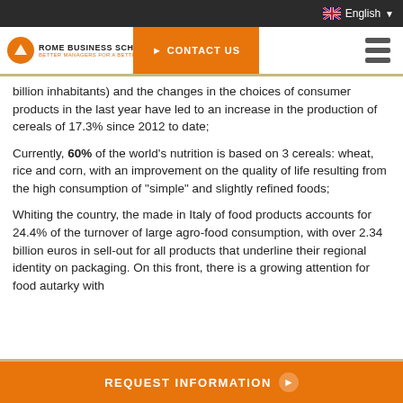English
[Figure (logo): Rome Business School logo with orange circle icon and text]
CONTACT US
billion inhabitants) and the changes in the choices of consumer products in the last year have led to an increase in the production of cereals of 17.3% since 2012 to date;
Currently, 60% of the world's nutrition is based on 3 cereals: wheat, rice and corn, with an improvement on the quality of life resulting from the high consumption of "simple" and slightly refined foods;
Whiting the country, the made in Italy of food products accounts for 24.4% of the turnover of large agro-food consumption, with over 2.34 billion euros in sell-out for all products that underline their regional identity on packaging. On this front, there is a growing attention for food autarky with...
REQUEST INFORMATION